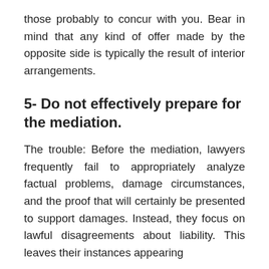those probably to concur with you. Bear in mind that any kind of offer made by the opposite side is typically the result of interior arrangements.
5- Do not effectively prepare for the mediation.
The trouble: Before the mediation, lawyers frequently fail to appropriately analyze factual problems, damage circumstances, and the proof that will certainly be presented to support damages. Instead, they focus on lawful disagreements about liability. This leaves their instances appearing